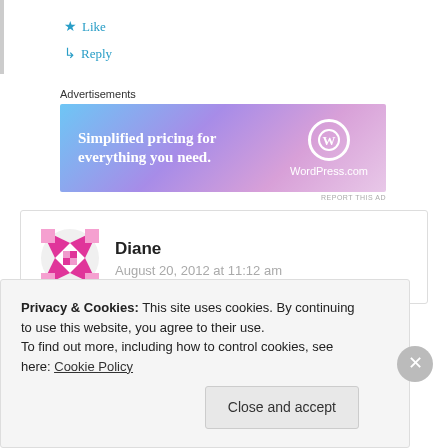★ Like
↳ Reply
Advertisements
[Figure (illustration): WordPress.com advertisement banner: 'Simplified pricing for everything you need.' with WordPress.com logo on gradient blue-purple background.]
REPORT THIS AD
Diane
August 20, 2012 at 11:12 am
Privacy & Cookies: This site uses cookies. By continuing to use this website, you agree to their use.
To find out more, including how to control cookies, see here: Cookie Policy
Close and accept